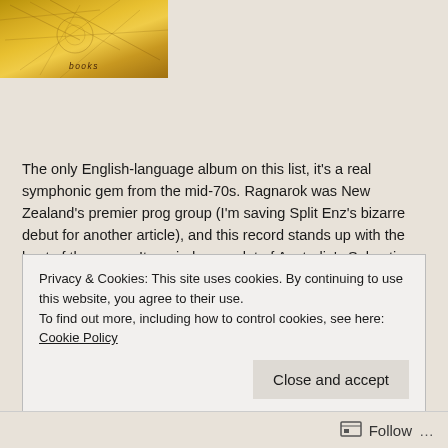[Figure (illustration): Album cover with golden/yellow background, map-like lines, and the word 'books' in dark italic text at the bottom center]
The only English-language album on this list, it's a real symphonic gem from the mid-70s. Ragnarok was New Zealand's premier prog group (I'm saving Split Enz's bizarre debut for another article), and this record stands up with the best of the genre. It reminds me a lot of Australia's Sebastian Hardie in its lush textures and excellent guitar playing, but in fact this is much better. The vocals are good but unobtrusive and perhaps a little lacking in excitement, but I'll take on-key over exciting any day. The band had two keyboard players who were allowed to stretch out on a number of beautiful, pastoral ballads with an array of
Privacy & Cookies: This site uses cookies. By continuing to use this website, you agree to their use.
To find out more, including how to control cookies, see here: Cookie Policy
Close and accept
Follow